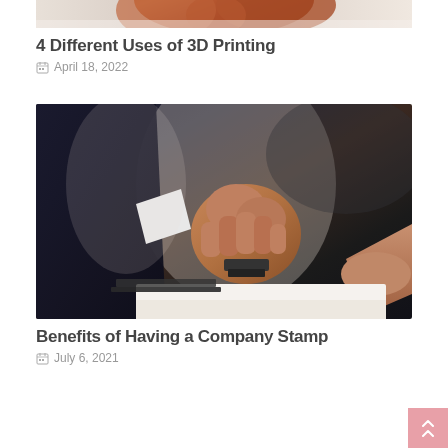[Figure (photo): Top portion of a photo showing a person with red/auburn hair, cropped at top of page]
4 Different Uses of 3D Printing
April 18, 2022
[Figure (photo): Close-up photo of a person in a dark suit stamping a document with a rubber stamp, with a laptop visible in the background]
Benefits of Having a Company Stamp
July 6, 2021